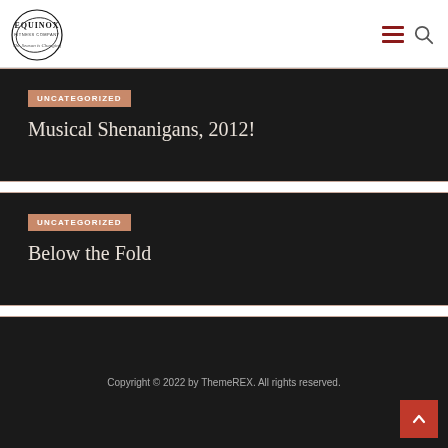Equinox — The Season is Changing (logo) with hamburger menu and search icon
UNCATEGORIZED
Musical Shenanigans, 2012!
UNCATEGORIZED
Below the Fold
Copyright © 2022 by ThemeREX. All rights reserved.